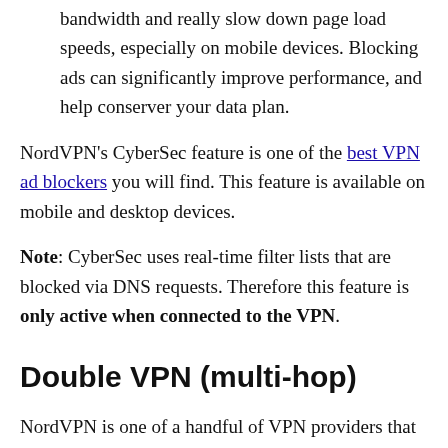bandwidth and really slow down page load speeds, especially on mobile devices. Blocking ads can significantly improve performance, and help conserver your data plan.
NordVPN's CyberSec feature is one of the best VPN ad blockers you will find. This feature is available on mobile and desktop devices.
Note: CyberSec uses real-time filter lists that are blocked via DNS requests. Therefore this feature is only active when connected to the VPN.
Double VPN (multi-hop)
NordVPN is one of a handful of VPN providers that offer multi-hop functionality – or in this case, double-VPN...